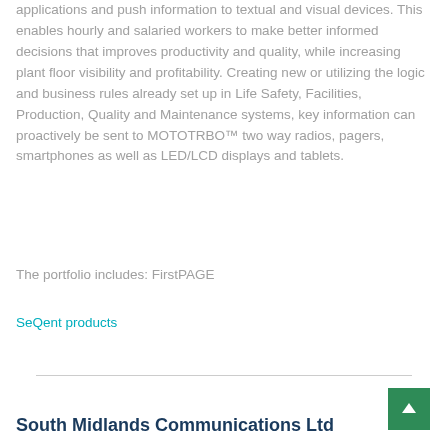applications and push information to textual and visual devices. This enables hourly and salaried workers to make better informed decisions that improves productivity and quality, while increasing plant floor visibility and profitability. Creating new or utilizing the logic and business rules already set up in Life Safety, Facilities, Production, Quality and Maintenance systems, key information can proactively be sent to MOTOTRBO™ two way radios, pagers, smartphones as well as LED/LCD displays and tablets.
The portfolio includes: FirstPAGE
SeQent products
South Midlands Communications Ltd